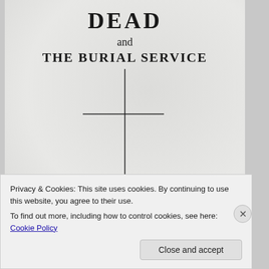DEAD
and
THE BURIAL SERVICE
[Figure (illustration): A simple Christian cross drawn with thin black lines, centered on the page, with a longer vertical bar and shorter horizontal bar.]
Privacy & Cookies: This site uses cookies. By continuing to use this website, you agree to their use.
To find out more, including how to control cookies, see here: Cookie Policy
Close and accept